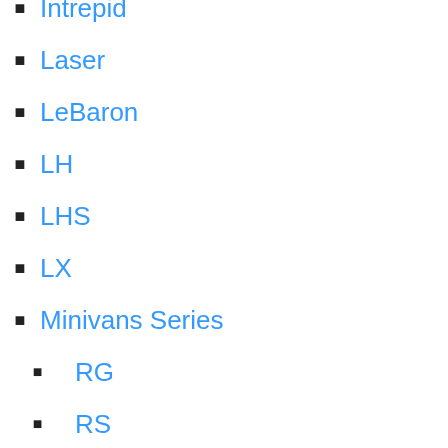Intrepid
Laser
LeBaron
LH
LHS
LX
Minivans Series
RG
RS
Neon
New Yorker
Pacifica
Parts Catalogues
Prowler
PT Cruiser
Sebring
Stratus
Town and Country
Valiant